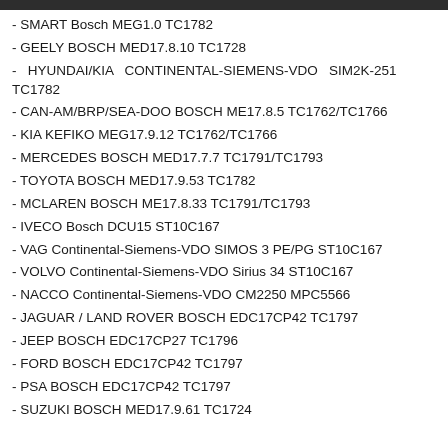- SMART Bosch MEG1.0 TC1782
- GEELY BOSCH MED17.8.10 TC1728
-  HYUNDAI/KIA  CONTINENTAL-SIEMENS-VDO  SIM2K-251 TC1782
- CAN-AM/BRP/SEA-DOO BOSCH ME17.8.5 TC1762/TC1766
- KIA KEFIKO MEG17.9.12 TC1762/TC1766
- MERCEDES BOSCH MED17.7.7 TC1791/TC1793
- TOYOTA BOSCH MED17.9.53 TC1782
- MCLAREN BOSCH ME17.8.33 TC1791/TC1793
- IVECO Bosch DCU15 ST10C167
- VAG Continental-Siemens-VDO SIMOS 3 PE/PG ST10C167
- VOLVO Continental-Siemens-VDO Sirius 34 ST10C167
- NACCO Continental-Siemens-VDO CM2250 MPC5566
- JAGUAR / LAND ROVER BOSCH EDC17CP42 TC1797
- JEEP BOSCH EDC17CP27 TC1796
- FORD BOSCH EDC17CP42 TC1797
- PSA BOSCH EDC17CP42 TC1797
- SUZUKI BOSCH MED17.9.61 TC1724